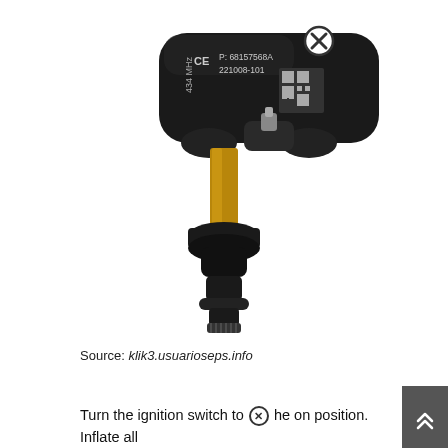[Figure (photo): TPMS (Tire Pressure Monitoring System) sensor with black plastic housing showing CE marking, part number P:68157568A, 221008-101, 434 MHz label, QR code, and a brass/metal valve stem with black rubber snap-in valve body. There is a circled X (close/delete) icon overlay near the top-right of the sensor body.]
Source: klik3.usuarioseps.info
Turn the ignition switch to the on position. Inflate all